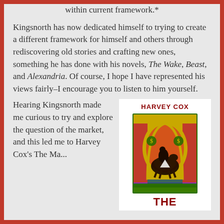within current framework.*
Kingsnorth has now dedicated himself to trying to create a different framework for himself and others through rediscovering old stories and crafting new ones, something he has done with his novels, The Wake, Beast, and Alexandria. Of course, I hope I have represented his views fairly–I encourage you to listen to him yourself.
Hearing Kingsnorth made me curious to try and explore the question of the market, and this led me to Harvey Cox's The Market...
[Figure (illustration): Book cover for Harvey Cox's book, featuring stained-glass style illustration with a figure on horseback in reds, yellows, blues and greens. Author name HARVEY COX at top in dark red bold text, title THE at bottom.]